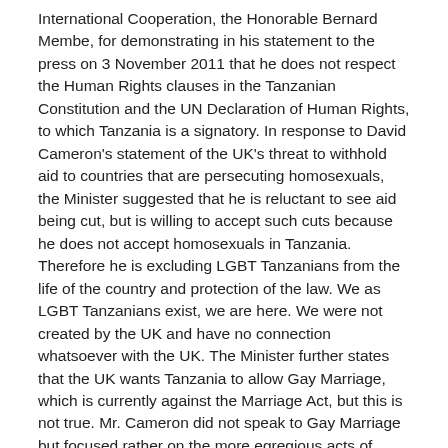International Cooperation, the Honorable Bernard Membe, for demonstrating in his statement to the press on 3 November 2011 that he does not respect the Human Rights clauses in the Tanzanian Constitution and the UN Declaration of Human Rights, to which Tanzania is a signatory. In response to David Cameron's statement of the UK's threat to withhold aid to countries that are persecuting homosexuals, the Minister suggested that he is reluctant to see aid being cut, but is willing to accept such cuts because he does not accept homosexuals in Tanzania. Therefore he is excluding LGBT Tanzanians from the life of the country and protection of the law. We as LGBT Tanzanians exist, we are here. We were not created by the UK and have no connection whatsoever with the UK. The Minister further states that the UK wants Tanzania to allow Gay Marriage, which is currently against the Marriage Act, but this is not true. Mr. Cameron did not speak to Gay Marriage but focused rather on the more egregious acts of persecution of Gays that have occurred in Malawi, Uganda and Senegal, including imprisonment, and in the case of Uganda, a proposed law that makes repeated homosexual activity a capital offense.
The Tanzanian government should respect our rights under the Constitution and the UN Declaration of Human Rights. It's now time